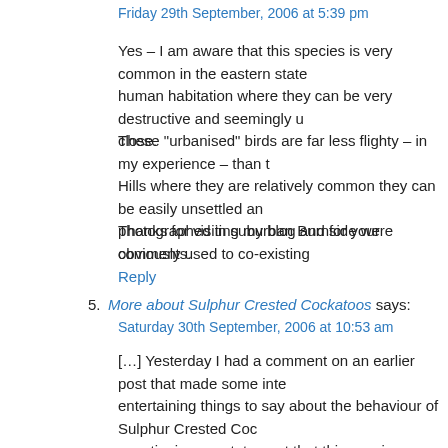Friday 29th September, 2006 at 5:39 pm
Yes – I am aware that this species is very common in the eastern state... human habitation where they can be very destructive and seemingly u... close.
These "urbanised" birds are far less flighty – in my experience – than t... Hills where they are relatively common they can be easily unsettled an... photographed in suburban Burnside were obviously used to co-existing...
Thanks for visiting my blog and for your comments.
Reply
5. More about Sulphur Crested Cockatoos says:
Saturday 30th September, 2006 at 10:53 am
[…] Yesterday I had a comment on an earlier post that made some inte... entertaining things to say about the behaviour of Sulphur Crested Coc... questioning my statement that this species was a bit flighty and hard to... quote his comments in full. I'm surprised that you say that Sulphur Cre... Trevor. There's a wild flock in the centre of Sydney that live in the bota... easy to wander around watching them dismantling various trees there... careful. […]
Reply